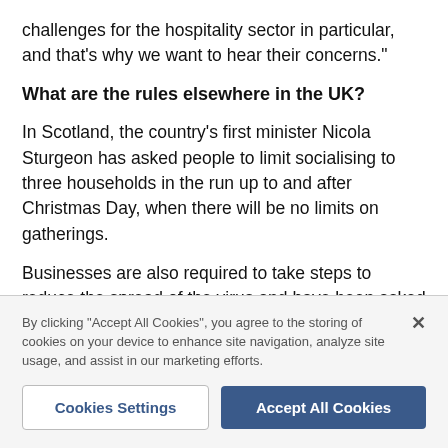challenges for the hospitality sector in particular, and that's why we want to hear their concerns."
What are the rules elsewhere in the UK?
In Scotland, the country's first minister Nicola Sturgeon has asked people to limit socialising to three households in the run up to and after Christmas Day, when there will be no limits on gatherings.
Businesses are also required to take steps to reduce the spread of the virus and have been asked to reintroduce social distancing and screens.
By clicking "Accept All Cookies", you agree to the storing of cookies on your device to enhance site navigation, analyze site usage, and assist in our marketing efforts.
Cookies Settings
Accept All Cookies